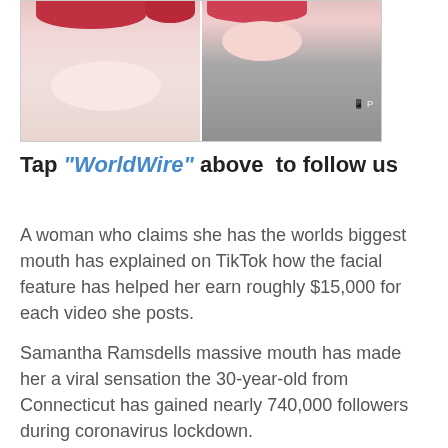[Figure (photo): Two close-up photos side by side showing a woman with a large open mouth with red lipstick]
Tap "WorldWire" above  to follow us
A woman who claims she has the worlds biggest mouth has explained on TikTok how the facial feature has helped her earn roughly $15,000 for each video she posts.
Samantha Ramsdells massive mouth has made her a viral sensation the 30-year-old from Connecticut has gained nearly 740,000 followers during coronavirus lockdown.